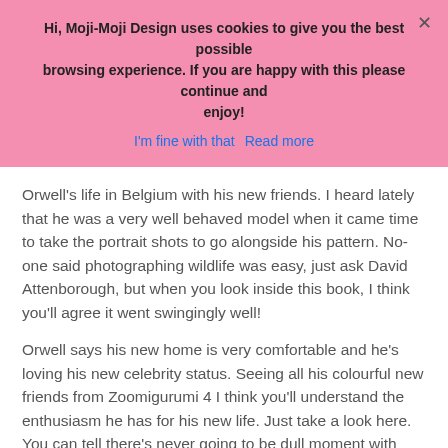Hi, Moji-Moji Design uses cookies to give you the best possible browsing experience. If you are happy with this please continue and enjoy!
I'm fine with that   Read more
Orwell's life in Belgium with his new friends. I heard lately that he was a very well behaved model when it came time to take the portrait shots to go alongside his pattern. No-one said photographing wildlife was easy, just ask David Attenborough, but when you look inside this book, I think you'll agree it went swingingly well!
Orwell says his new home is very comfortable and he's loving his new celebrity status. Seeing all his colourful new friends from Zoomigurumi 4 I think you'll understand the enthusiasm he has for his new life. Just take a look here. You can tell there's never going to be dull moment with such a diverse range of pals to play with. Don't they all look fun?